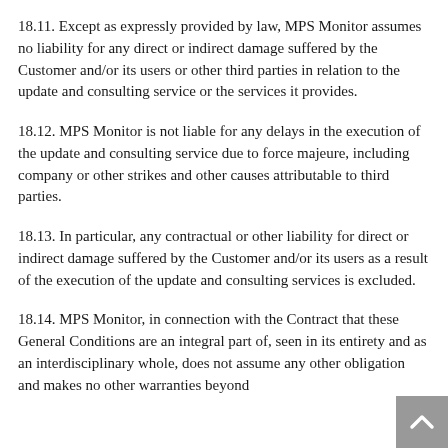18.11. Except as expressly provided by law, MPS Monitor assumes no liability for any direct or indirect damage suffered by the Customer and/or its users or other third parties in relation to the update and consulting service or the services it provides.
18.12. MPS Monitor is not liable for any delays in the execution of the update and consulting service due to force majeure, including company or other strikes and other causes attributable to third parties.
18.13. In particular, any contractual or other liability for direct or indirect damage suffered by the Customer and/or its users as a result of the execution of the update and consulting services is excluded.
18.14. MPS Monitor, in connection with the Contract that these General Conditions are an integral part of, seen in its entirety and as an interdisciplinary whole, does not assume any other obligation and makes no other warranties beyond